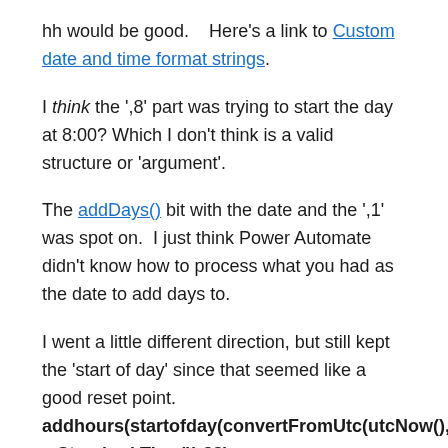hh would be good.    Here's a link to Custom date and time format strings.
I think the ',8' part was trying to start the day at 8:00?  Which I don't think is a valid structure or 'argument'.
The addDays() bit with the date and the ',1' was spot on.  I just think Power Automate didn't know how to process what you had as the date to add days to.
I went a little different direction, but still kept the 'start of day' since that seemed like a good reset point. addhours(startofday(convertFromUtc(utcNow(),'Pacific Standard Time')),32) With this one, we are converting the current UTC time to Pacific (I think I saw in another edit, that's where you were, but you can change it if you want), then looking